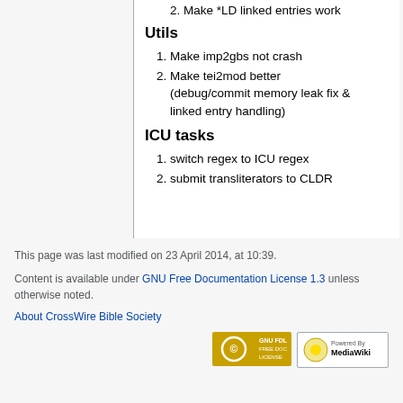2. Make *LD linked entries work
Utils
1. Make imp2gbs not crash
2. Make tei2mod better (debug/commit memory leak fix & linked entry handling)
ICU tasks
1. switch regex to ICU regex
2. submit transliterators to CLDR
This page was last modified on 23 April 2014, at 10:39.
Content is available under GNU Free Documentation License 1.3 unless otherwise noted.
About CrossWire Bible Society
[Figure (logo): GNU FDL Free Doc License logo]
[Figure (logo): Powered by MediaWiki logo]